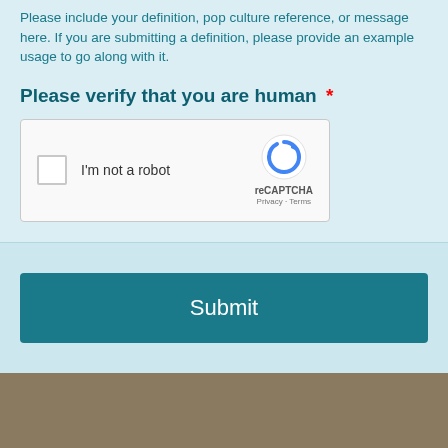Please include your definition, pop culture reference, or message here. If you are submitting a definition, please provide an example usage to go along with it.
Please verify that you are human *
[Figure (other): reCAPTCHA widget with checkbox labeled 'I'm not a robot' and reCAPTCHA logo]
Submit
Thus concludes our slang archive for J-C.